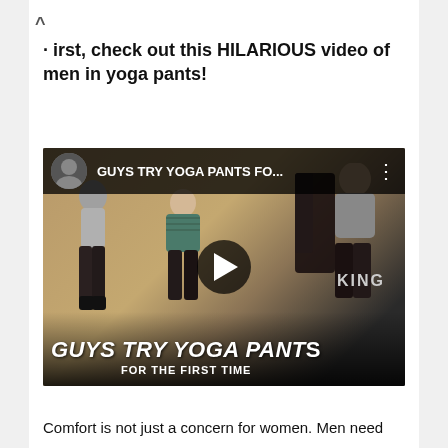First, check out this HILARIOUS video of men in yoga pants!
[Figure (screenshot): YouTube video thumbnail showing 'GUYS TRY YOGA PANTS FO...' with three men wearing or holding yoga pants. Play button overlay in center. Bottom text reads 'GUYS TRY YOGA PANTS FOR THE FIRST TIME'.]
Comfort is not just a concern for women. Men need